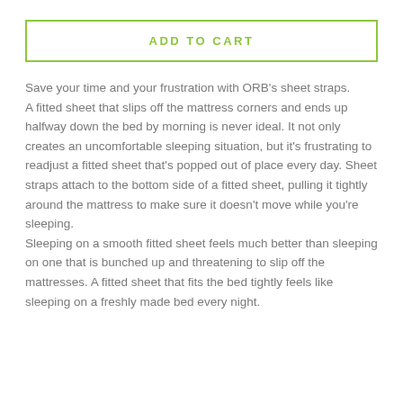[Figure (other): ADD TO CART button with green border and green uppercase text]
Save your time and your frustration with ORB’s sheet straps.
A fitted sheet that slips off the mattress corners and ends up halfway down the bed by morning is never ideal. It not only creates an uncomfortable sleeping situation, but it’s frustrating to readjust a fitted sheet that’s popped out of place every day. Sheet straps attach to the bottom side of a fitted sheet, pulling it tightly around the mattress to make sure it doesn’t move while you’re sleeping.
Sleeping on a smooth fitted sheet feels much better than sleeping on one that is bunched up and threatening to slip off the mattresses. A fitted sheet that fits the bed tightly feels like sleeping on a freshly made bed every night.